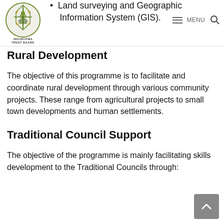[Figure (logo): Ingonyama Trust Board logo with stylized figure and text]
Land surveying and Geographic Information System (GIS).
Rural Development
The objective of this programme is to facilitate and coordinate rural development through various community projects. These range from agricultural projects to small town developments and human settlements.
Traditional Council Support
The objective of the programme is mainly facilitating skills development to the Traditional Councils through: